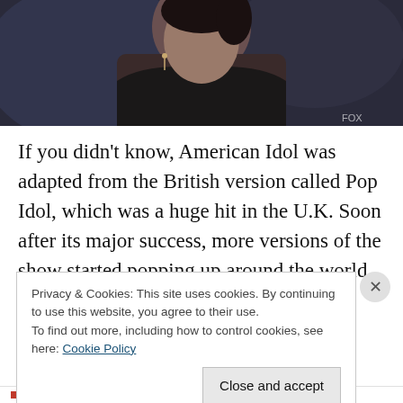[Figure (photo): Cropped photo of a person wearing a dark blazer with earrings, partially visible from shoulders up, against a blurred background]
If you didn't know, American Idol was adapted from the British version called Pop Idol, which was a huge hit in the U.K. Soon after its major success, more versions of the show started popping up around the world, and by late
Privacy & Cookies: This site uses cookies. By continuing to use this website, you agree to their use.
To find out more, including how to control cookies, see here: Cookie Policy
Close and accept